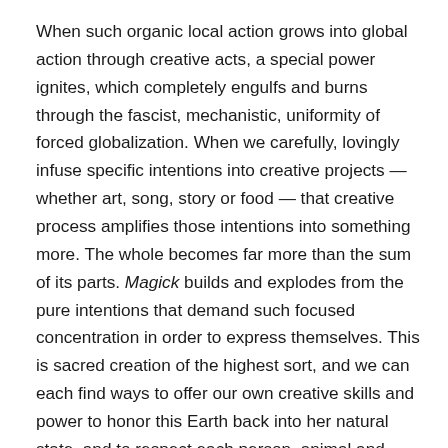When such organic local action grows into global action through creative acts, a special power ignites, which completely engulfs and burns through the fascist, mechanistic, uniformity of forced globalization. When we carefully, lovingly infuse specific intentions into creative projects — whether art, song, story or food — that creative process amplifies those intentions into something more. The whole becomes far more than the sum of its parts. Magick builds and explodes from the pure intentions that demand such focused concentration in order to express themselves. This is sacred creation of the highest sort, and we can each find ways to offer our own creative skills and power to honor this Earth back into her natural state, and to respect each person, animal and element as an integral part of a larger Creation.